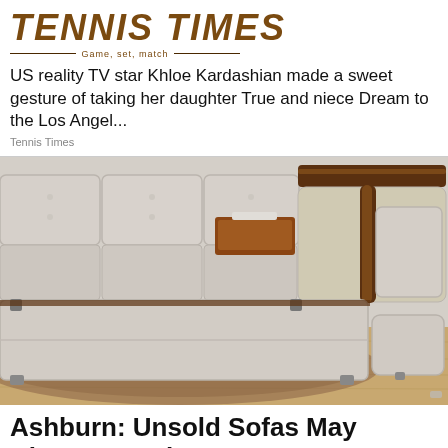TENNIS TIMES — Game, set, match
US reality TV star Khloe Kardashian made a sweet gesture of taking her daughter True and niece Dream to the Los Angel...
Tennis Times
[Figure (photo): A large modern sectional sofa in light grey/beige leather with dark brown wood accents, featuring multiple seats, a chaise lounge section, and an ottoman, displayed on a hardwood and rug floor.]
Ashburn: Unsold Sofas May Almost Be Given Away